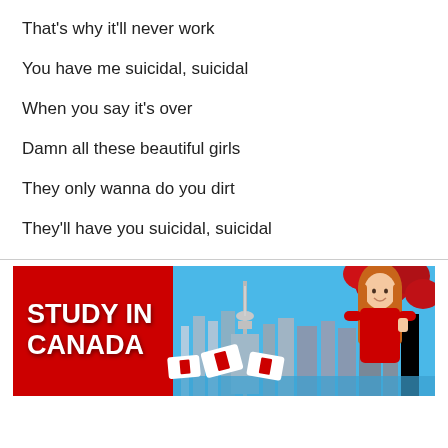That's why it'll never work
You have me suicidal, suicidal
When you say it's over
Damn all these beautiful girls
They only wanna do you dirt
They'll have you suicidal, suicidal
[Figure (illustration): Red advertisement banner reading 'STUDY IN CANADA' with a smiling woman in red, Canadian maple leaf flags, and a Toronto skyline in the background.]